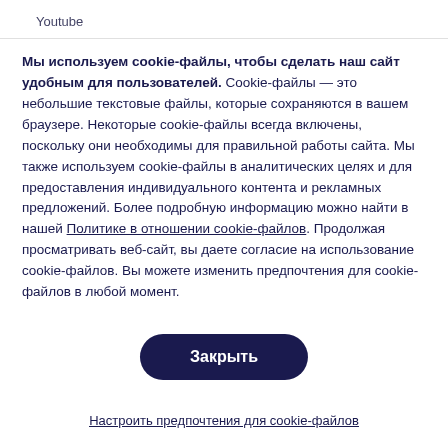Youtube
Мы используем cookie-файлы, чтобы сделать наш сайт удобным для пользователей. Cookie-файлы — это небольшие текстовые файлы, которые сохраняются в вашем браузере. Некоторые cookie-файлы всегда включены, поскольку они необходимы для правильной работы сайта. Мы также используем cookie-файлы в аналитических целях и для предоставления индивидуального контента и рекламных предложений. Более подробную информацию можно найти в нашей Политике в отношении cookie-файлов. Продолжая просматривать веб-сайт, вы даете согласие на использование cookie-файлов. Вы можете изменить предпочтения для cookie-файлов в любой момент.
Закрыть
Настроить предпочтения для cookie-файлов